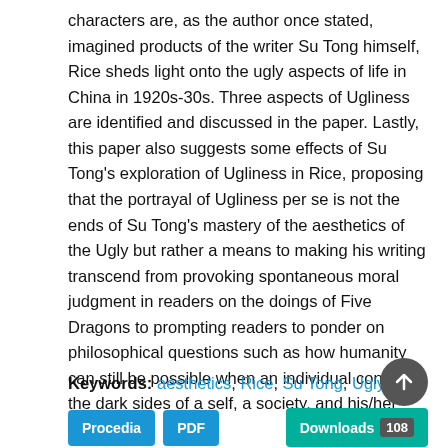characters are, as the author once stated, imagined products of the writer Su Tong himself, Rice sheds light onto the ugly aspects of life in China in 1920s-30s. Three aspects of Ugliness are identified and discussed in the paper. Lastly, this paper also suggests some effects of Su Tong's exploration of Ugliness in Rice, proposing that the portrayal of Ugliness per se is not the ends of Su Tong's mastery of the aesthetics of the Ugly but rather a means to making his writing transcend from provoking spontaneous moral judgment in readers on the doings of Five Dragons to prompting readers to ponder on philosophical questions such as how humanity can still be possible when an individual confronts the dark sides of a self, a society, and his/her fate.
Keywords: aesthetics, Rice, Su Tong, Ugly